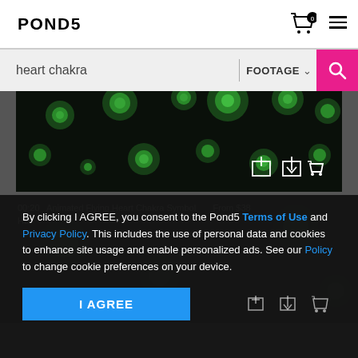POND5
heart chakra
FOOTAGE
[Figure (screenshot): Video thumbnail showing green glowing spherical particles on a black background, part of a Pond5 footage search result card with add, download, and cart icons.]
00:20  Animated Flying Heart Chakra Symbol   From $38
HD
By clicking I AGREE, you consent to the Pond5 Terms of Use and Privacy Policy. This includes the use of personal data and cookies to enhance site usage and enable personalized ads. See our Policy to change cookie preferences on your device.
I AGREE